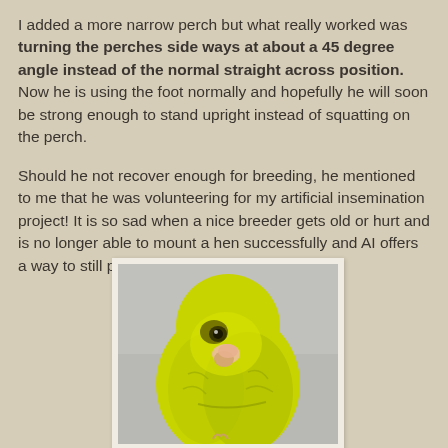I added a more narrow perch but what really worked was turning the perches side ways at about a 45 degree angle instead of the normal straight across position. Now he is using the foot normally and hopefully he will soon be strong enough to stand upright instead of squatting on the perch.
Should he not recover enough for breeding, he mentioned to me that he was volunteering for my artificial insemination project! It is so sad when a nice breeder gets old or hurt and is no longer able to mount a hen successfully and AI offers a way to still pass on his genes!
[Figure (photo): A yellow-green budgerigar (parakeet) photographed against a light gray background, showing the bird from a front-side angle with feathers visible.]